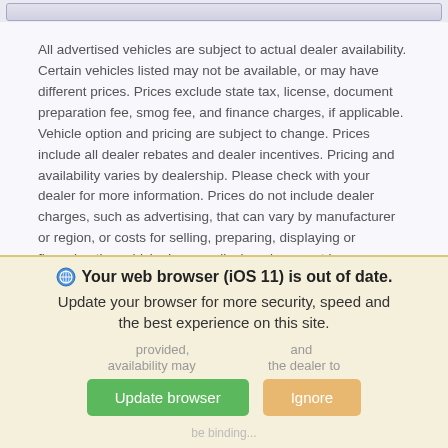[Figure (screenshot): Top navigation bar element with rounded rectangle UI button]
All advertised vehicles are subject to actual dealer availability. Certain vehicles listed may not be available, or may have different prices. Prices exclude state tax, license, document preparation fee, smog fee, and finance charges, if applicable. Vehicle option and pricing are subject to change. Prices include all dealer rebates and dealer incentives. Pricing and availability varies by dealership. Please check with your dealer for more information. Prices do not include dealer charges, such as advertising, that can vary by manufacturer or region, or costs for selling, preparing, displaying or financing the vehicle. Images displayed may not be representative of the actual trim level of a vehicle. Colors shown are the most accurate representations available. However, due to the limitations
[Figure (screenshot): Browser update banner overlay: 'Your web browser (iOS 11) is out of date. Update your browser for more security, speed and the best experience on this site.' with Update browser (green) and Ignore (orange) buttons]
provided, and availability may be limited. Call the dealer to be binding...